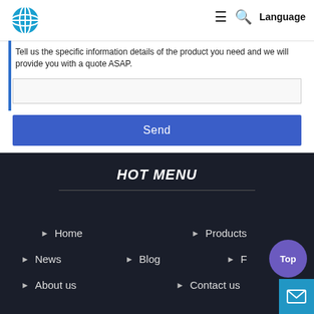[Figure (logo): Circular blue logo with white lines/stripes pattern]
Tell us the specific information details of the product you need and we will provide you with a quote ASAP.
Send
HOT MENU
Home
Products
News
Blog
About us
Contact us